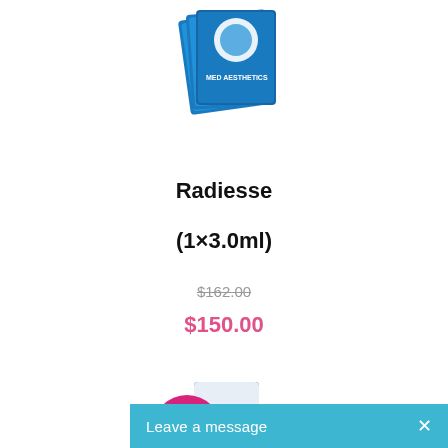[Figure (photo): Stacked blue product boxes for Radiesse dermal filler]
Radiesse
(1×3.0ml)
$162.00 (strikethrough original price)
$150.00 (sale price in pink)
[Figure (photo): Belotero dermal filler product box and syringe with Sale! badge]
Leave a message  ×